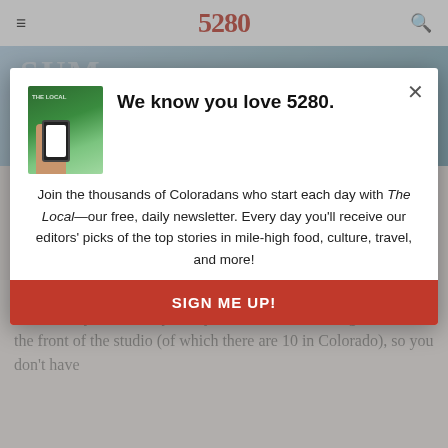5280
[Figure (photo): Background advertisement banner with SUMMER text overlay and resort credit text, blue/teal color scheme]
If you're inspired by Clean instruction, Try: The...
If you can get past their ridiculous names—Abacus, Miami Nights, Moon Hopper—you'll find that
[Figure (photo): Hand holding a smartphone showing The Local newsletter app, against green outdoor background]
We know you love 5280.
Join the thousands of Coloradans who start each day with The Local—our free, daily newsletter. Every day you'll receive our editors' picks of the top stories in mile-high food, culture, travel, and more!
SIGN ME UP!
F45's HIIT, resistance, and hybrid classes literally take your breath away. Thankfully, every move is shown on big screens at the front of the studio (of which there are 10 in Colorado), so you don't have